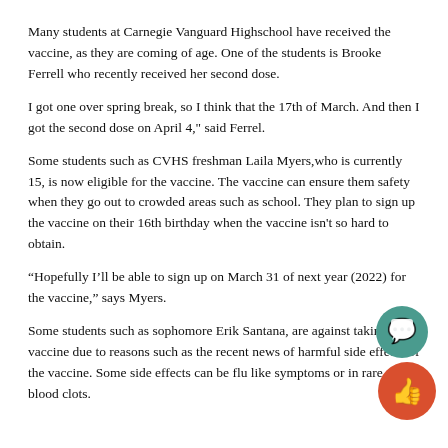Many students at Carnegie Vanguard Highschool have received the vaccine, as they are coming of age. One of the students is Brooke Ferrell who recently received her second dose.
I got one over spring break, so I think that the 17th of March. And then I got the second dose on April 4," said Ferrel.
Some students such as CVHS freshman Laila Myers,who is currently 15, is now eligible for the vaccine. The vaccine can ensure them safety when they go out to crowded areas such as school. They plan to sign up the vaccine on their 16th birthday when the vaccine isn't so hard to obtain.
“Hopefully I’ll be able to sign up on March 31 of next year (2022) for the vaccine,” says Myers.
Some students such as sophomore Erik Santana, are against taking the vaccine due to reasons such as the recent news of harmful side effects of the vaccine. Some side effects can be flu like symptoms or in rare cases, blood clots.
[Figure (illustration): Two circular icon buttons in the bottom-right corner: a teal/green circle with a speech bubble icon (comment), and a red/orange circle with a thumbs-up icon (like).]